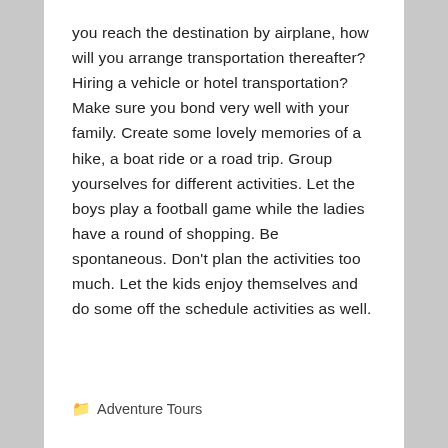you reach the destination by airplane, how will you arrange transportation thereafter? Hiring a vehicle or hotel transportation? Make sure you bond very well with your family. Create some lovely memories of a hike, a boat ride or a road trip. Group yourselves for different activities. Let the boys play a football game while the ladies have a round of shopping. Be spontaneous. Don't plan the activities too much. Let the kids enjoy themselves and do some off the schedule activities as well.
Adventure Tours